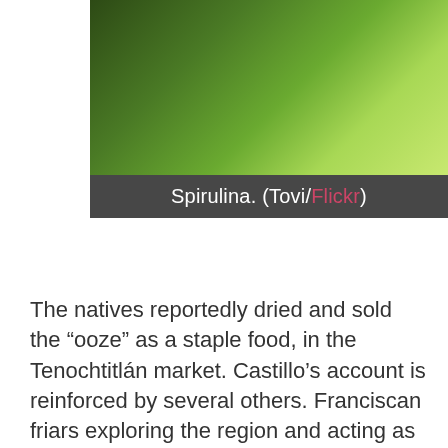[Figure (photo): Close-up photograph of spirulina algae, green and textured, against a bright green background]
Spirulina. (Tovi/Flickr)
The natives reportedly dried and sold the “ooze” as a staple food, in the Tenochtitlán market. Castillo’s account is reinforced by several others. Franciscan friars exploring the region and acting as pseudo-naturalists wrote about the dried “slime,” which the locals called tecuitlatl (the “excrement of stones”), and detailed its sale and